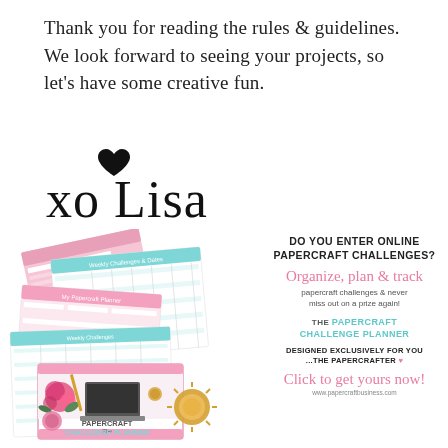Thank you for reading the rules & guidelines. We look forward to seeing your projects, so let's have some creative fun.
[Figure (illustration): Handwritten cursive signature reading 'xo Lisa' with a black heart above the 'L']
[Figure (infographic): Advertisement for the Papercraft Challenge Planner showing mockup sheets (pink and teal spreadsheet pages) and a product cover with flowers and a laptop. Right side contains ad copy: 'DO YOU ENTER ONLINE PAPERCRAFT CHALLENGES? Organize, plan & track papercraft challenges & never miss out on a prize again! THE PAPERCRAFT CHALLENGE PLANNER DESIGNED EXCLUSIVELY FOR YOU ...THE PAPERCRAFTER. Click to get yours now! www.papercraftbusiness.com']